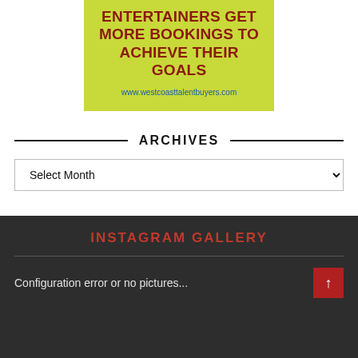[Figure (infographic): Advertisement banner with lime green background. Bold dark red uppercase text reading 'ENTERTAINERS GET MORE BOOKINGS TO ACHIEVE THEIR GOALS' with blue URL 'www.westcoasttalentbuyers.com' below.]
ARCHIVES
Select Month
INSTAGRAM GALLERY
Configuration error or no pictures...